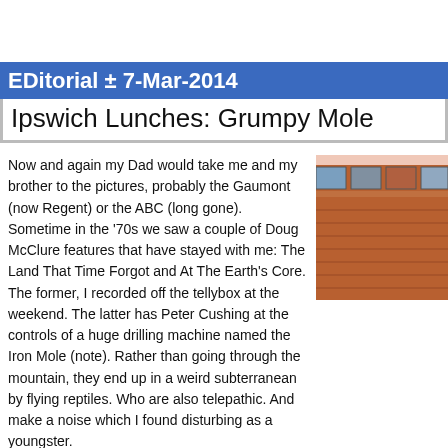EditOrial ± 7-Mar-2014
Ipswich Lunches: Grumpy Mole
Now and again my Dad would take me and my brother to the pictures, probably the Gaumont (now Regent) or the ABC (long gone). Sometime in the '70s we saw a couple of Doug McClure features that have stayed with me: The Land That Time Forgot and At The Earth's Core. The former, I recorded off the tellybox at the weekend. The latter has Peter Cushing at the controls of a huge drilling machine named the Iron Mole (note). Rather than going through the mountain, they end up in a weird subterranean by flying reptiles. Who are also telepathic. And make a noise which I found disturbing as a youngster.
[Figure (photo): Photo of a brick building exterior with windows, partially cropped]
With me as dashing Doug and Andy as eccentric Peter, we've been at the controls of velocipedic machines en route to the Grumpy Mole. Odd name, ay what, though sha nomenclature with a chain in Cheam. What are the chances? We've been to these Qu